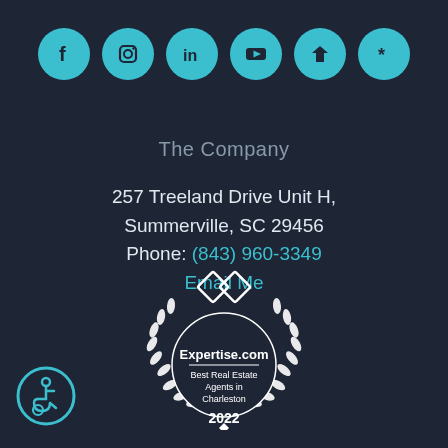[Figure (other): Six social media icon circles (Facebook, Instagram, LinkedIn, YouTube, Zillow, Yelp) in teal/cyan color]
The Company
257 Treeland Drive Unit H, Summerville, SC 29456
Phone: (843) 960-3349
Email Me
[Figure (logo): Expertise.com badge with laurel wreath, diamond logo, text 'Expertise.com Best Real Estate Agents in Charleston 2022']
[Figure (other): Accessibility wheelchair icon in teal circle outline]